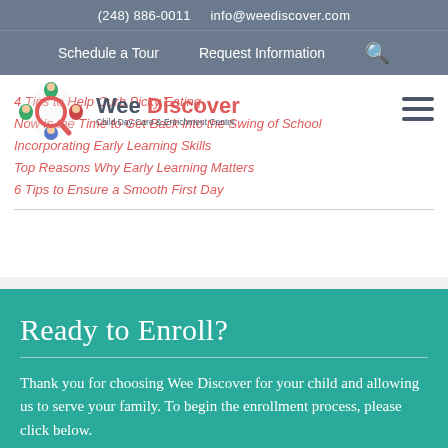(248) 886-0011   info@weediscover.com
Schedule a Tour   Request Information
[Figure (logo): Wee Discover Child Day Care & Enrichment Center logo with cartoon children figures around a magnifying glass]
4 Tips to Help Curb Picky Eating
Now is the Time to Get Back into the Swing of School
Incorporating Early Learning Skills
Top Reasons Why Early Learning Matters
6 Tips to Ensure a Smooth First Day
Ready to Enroll?
Thank you for choosing Wee Discover for your child and allowing us to serve your family. To begin the enrollment process, please click below.
REQUEST INFO